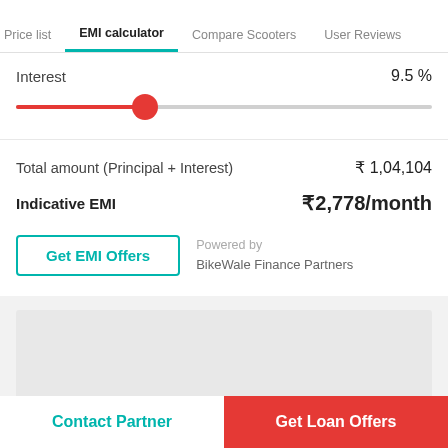Price list  EMI calculator  Compare Scooters  User Reviews
Interest  9.5 %
[Figure (other): Horizontal slider with red fill and red circular thumb at about 31% position, showing interest rate control]
Total amount (Principal + Interest)  ₹ 1,04,104
Indicative EMI  ₹ 2,778/month
Get EMI Offers
Powered by BikeWale Finance Partners
[Figure (other): Gray placeholder content area with arrow icon at bottom]
Contact Partner
Get Loan Offers